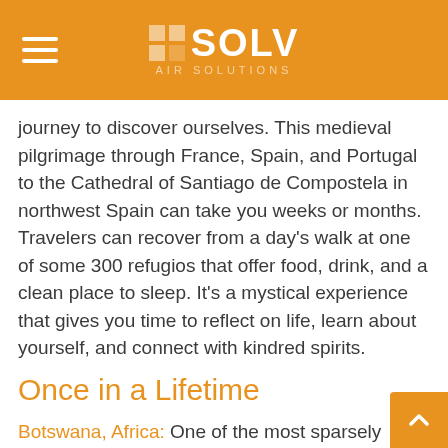SOLV AIR SOLUTIONS
journey to discover ourselves. This medieval pilgrimage through France, Spain, and Portugal to the Cathedral of Santiago de Compostela in northwest Spain can take you weeks or months. Travelers can recover from a day's walk at one of some 300 refugios that offer food, drink, and a clean place to sleep. It's a mystical experience that gives you time to reflect on life, learn about yourself, and connect with kindred spirits.
Once in a Lifetime
Botswana, Africa: One of the most sparsely populated nations on earth, Botswana is dominated by the Kalahari Desert and the Okavango Delta, the world's largest inland delta and now a UNESCO World Heritage site. The Okavango is the ideal spot to safari as its waters attract